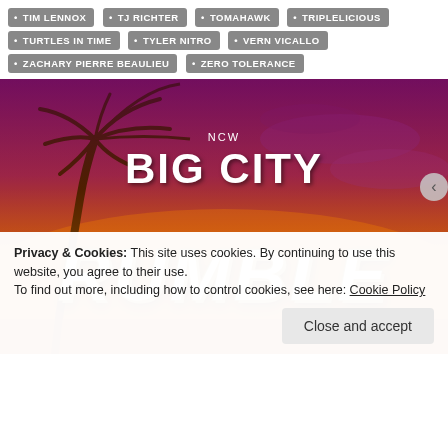• TIM LENNOX  • TJ RICHTER  • TOMAHAWK  • TRIPLELICIOUS  • TURTLES IN TIME  • TYLER NITRO  • VERN VICALLO  • ZACHARY PIERRE BEAULIEU  • ZERO TOLERANCE
[Figure (photo): NCW Big City Rumble promotional banner with palm tree silhouette, orange-red sunset background, white 'NCW' text above 'BIG CITY' in white bold letters, and 'RUMBLE' in large distressed/textured letters]
Privacy & Cookies: This site uses cookies. By continuing to use this website, you agree to their use.
To find out more, including how to control cookies, see here: Cookie Policy
Close and accept